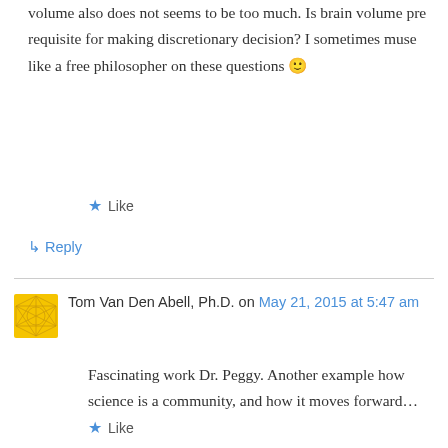volume also does not seems to be too much. Is brain volume pre requisite for making discretionary decision? I sometimes muse like a free philosopher on these questions 🙂
★ Like
↳ Reply
Tom Van Den Abell, Ph.D. on May 21, 2015 at 5:47 am
Fascinating work Dr. Peggy. Another example how science is a community, and how it moves forward…
★ Like
↳ Reply